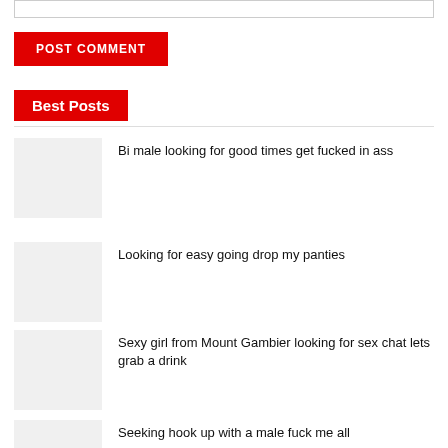[Figure (other): Input text field (empty)]
POST COMMENT
Best Posts
Bi male looking for good times get fucked in ass
Looking for easy going drop my panties
Sexy girl from Mount Gambier looking for sex chat lets grab a drink
Seeking hook up with a male fuck me all